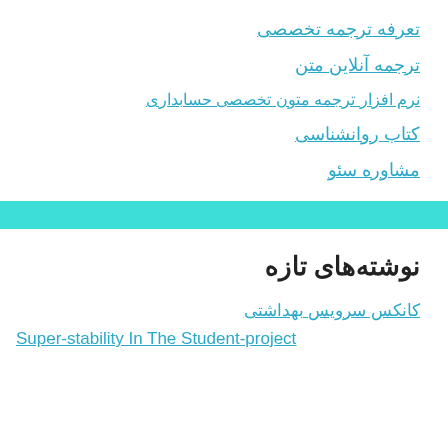تعرفه ترجمه تخصصی
ترجمه آنلاین متن
نرم افزار ترجمه متون تخصصی حسابداری
کتاب روانشناسی
مشاوره سئو
نوشته‌های تازه
کانکس سرویس بهداشتی
Super-stability In The Student-project